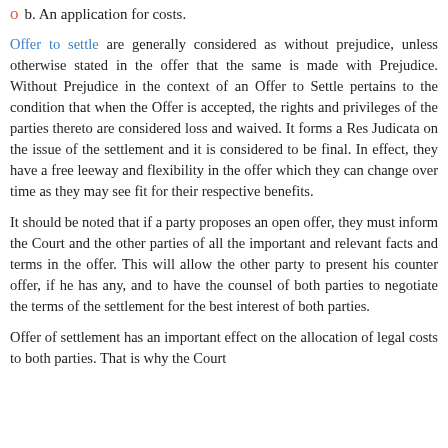b. An application for costs.
Offer to settle are generally considered as without prejudice, unless otherwise stated in the offer that the same is made with Prejudice. Without Prejudice in the context of an Offer to Settle pertains to the condition that when the Offer is accepted, the rights and privileges of the parties thereto are considered loss and waived. It forms a Res Judicata on the issue of the settlement and it is considered to be final. In effect, they have a free leeway and flexibility in the offer which they can change over time as they may see fit for their respective benefits.
It should be noted that if a party proposes an open offer, they must inform the Court and the other parties of all the important and relevant facts and terms in the offer. This will allow the other party to present his counter offer, if he has any, and to have the counsel of both parties to negotiate the terms of the settlement for the best interest of both parties.
Offer of settlement has an important effect on the allocation of legal costs to both parties. That is why the Court